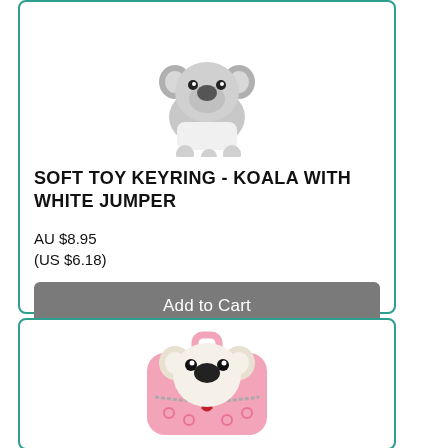[Figure (photo): Koala soft toy keyring with white jumper, shown from above, grey/white plush toy]
SOFT TOY KEYRING - KOALA WITH WHITE JUMPER
AU $8.95
(US $6.18)
Add to Cart
[Figure (photo): Pink children's backpack with a plush koala face on the front, featuring a zipper and heart/ring pattern, shown from the front]